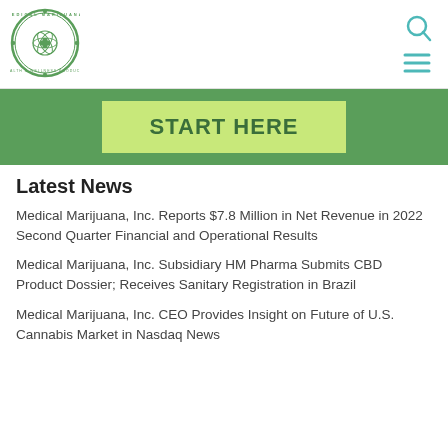[Figure (logo): Medical Marijuana Inc. circular logo with green border and medical/cannabis symbols]
[Figure (illustration): Search icon (magnifying glass) and hamburger menu icon in teal/green color]
[Figure (illustration): Green banner with light green 'START HERE' button]
Latest News
Medical Marijuana, Inc. Reports $7.8 Million in Net Revenue in 2022 Second Quarter Financial and Operational Results
Medical Marijuana, Inc. Subsidiary HM Pharma Submits CBD Product Dossier; Receives Sanitary Registration in Brazil
Medical Marijuana, Inc. CEO Provides Insight on Future of U.S. Cannabis Market in Nasdaq News